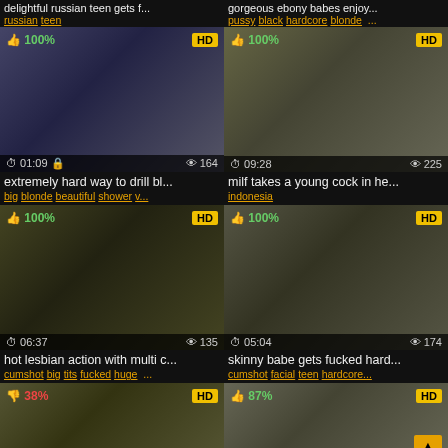delightful russian teen gets f... | gorgeous ebony babes enjoy...
russian teen | pussy black hardcore blonde ...
[Figure (screenshot): Video thumbnail: 100% HD, time 01:09, views 164]
[Figure (screenshot): Video thumbnail: 100% HD, time 09:28, views 225]
extremely hard way to drill bl...
big blonde beautiful shower v...
milf takes a young cock in he...
indonesia
[Figure (screenshot): Video thumbnail: 100% HD, time 06:37, views 135]
[Figure (screenshot): Video thumbnail: 100% HD, time 05:04, views 174]
hot lesbian action with multi c...
cumshot big tits fucked huge ...
skinny babe gets fucked hard...
cumshot facial teen hardcore...
[Figure (screenshot): Video thumbnail: 38% HD, partial view]
[Figure (screenshot): Video thumbnail: 87% HD, partial view]